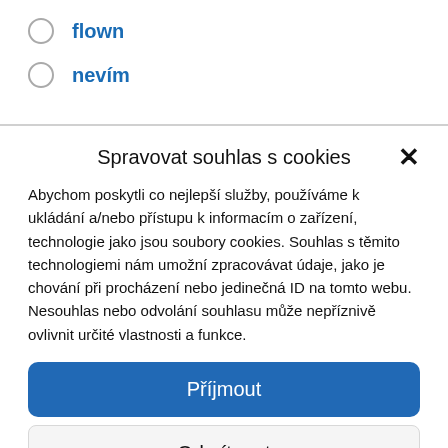flown
nevím
Spravovat souhlas s cookies
Abychom poskytli co nejlepší služby, používáme k ukládání a/nebo přístupu k informacím o zařízení, technologie jako jsou soubory cookies. Souhlas s těmito technologiemi nám umožní zpracovávat údaje, jako je chování při procházení nebo jedinečná ID na tomto webu. Nesouhlas nebo odvolání souhlasu může nepříznivě ovlivnit určité vlastnosti a funkce.
Příjmout
Odmítnout
Zvolte nastavení